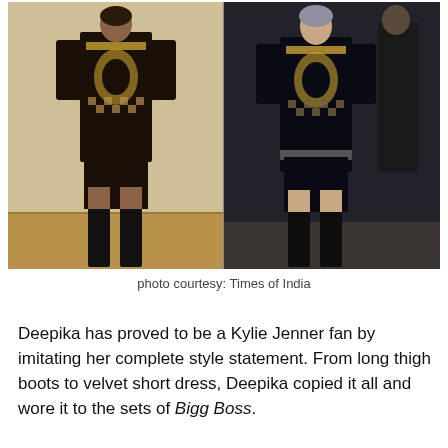[Figure (photo): Two side-by-side photos of women wearing matching black-and-gold embroidered mini dresses with thigh-high black boots. Left photo shows Deepika Padukone, right photo shows Kylie Jenner.]
photo courtesy: Times of India
Deepika has proved to be a Kylie Jenner fan by imitating her complete style statement. From long thigh boots to velvet short dress, Deepika copied it all and wore it to the sets of Bigg Boss.